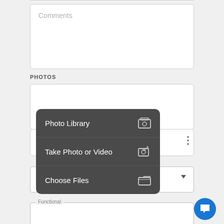Comments
PHOTOS
[Figure (screenshot): Mobile app UI showing a comments text area, a PHOTOS section with attachment and camera icons, a dropdown menu with options Photo Library, Take Photo or Video, Choose Files, a section row starting with 'S', a Cleanliness dropdown field, a Functional field, and a blue chat button.]